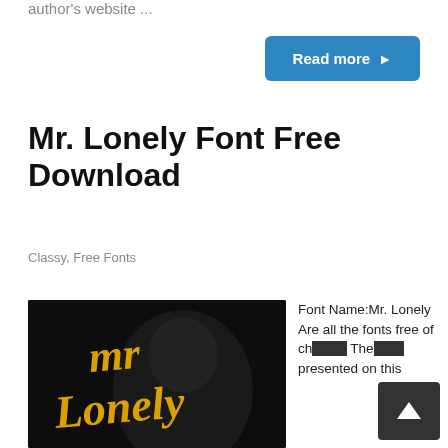author's website ...
Read more ▶
Mr. Lonely Font Free Download
Classy, Free Fonts
[Figure (photo): Mr. Lonely brush script font displayed in gold/yellow lettering over a dark background with a person in a leather jacket]
Font Name:Mr. Lonely Are all the fonts free of charge? The presented on this